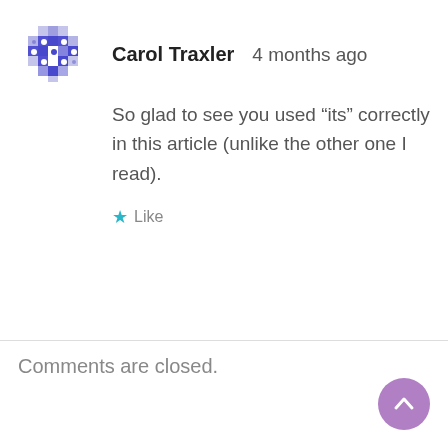[Figure (illustration): Purple pixel/mosaic cross avatar icon for user Carol Traxler]
Carol Traxler   4 months ago
So glad to see you used “its” correctly in this article (unlike the other one I read).
★ Like
Comments are closed.